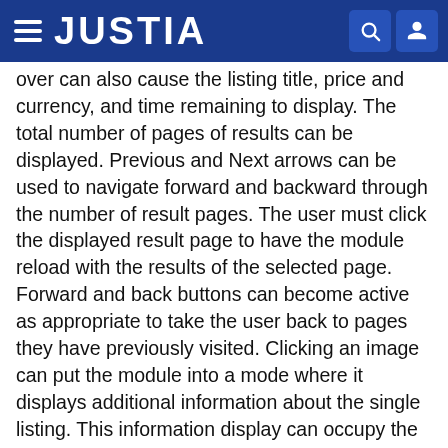JUSTIA
over can also cause the listing title, price and currency, and time remaining to display. The total number of pages of results can be displayed. Previous and Next arrows can be used to navigate forward and backward through the number of result pages. The user must click the displayed result page to have the module reload with the results of the selected page. Forward and back buttons can become active as appropriate to take the user back to pages they have previously visited. Clicking an image can put the module into a mode where it displays additional information about the single listing. This information display can occupy the full size of the module. Information displayed includes the title, time remaining, current bid, number of bids, number of views. A larger version of the image is displayed with panning enabled to see the full image. Clicking the image